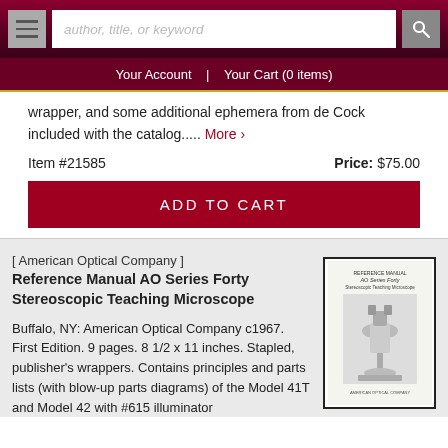author, title, or keyword | Your Account | Your Cart (0 items)
wrapper, and some additional ephemera from de Cock included with the catalog..... More ›
Item #21585  Price: $75.00
ADD TO CART
[ American Optical Company ] Reference Manual AO Series Forty Stereoscopic Teaching Microscope
Buffalo, NY: American Optical Company c1967. First Edition. 9 pages. 8 1/2 x 11 inches. Stapled, publisher's wrappers. Contains principles and parts lists (with blow-up parts diagrams) of the Model 41T and Model 42 with #615 illuminator
[Figure (photo): Thumbnail image of the Reference Manual AO Series Forty Stereoscopic Teaching Microscope booklet cover, showing a stereoscopic microscope on a stand]